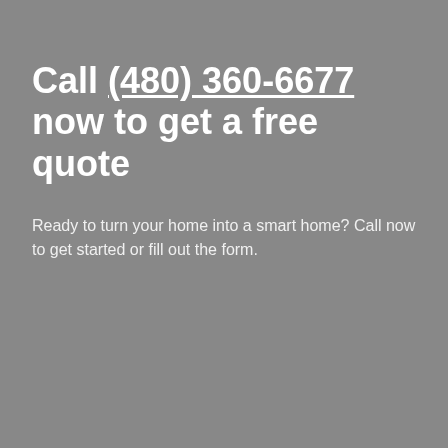Call (480) 360-6677 now to get a free quote
Ready to turn your home into a smart home? Call now to get started or fill out the form.